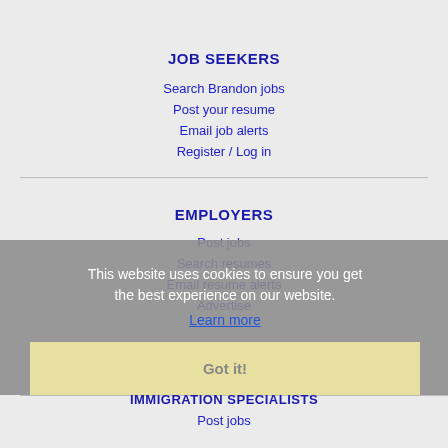JOB SEEKERS
Search Brandon jobs
Post your resume
Email job alerts
Register / Log in
EMPLOYERS
Post jobs
Search resumes
Email resume alerts
Advertise
This website uses cookies to ensure you get the best experience on our website.
Learn more
Got it!
IMMIGRATION SPECIALISTS
Post jobs